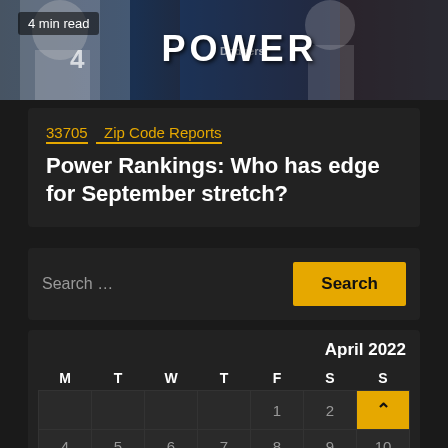[Figure (photo): Baseball players banner image with POWER text overlay and '4 min read' badge]
33705  Zip Code Reports
Power Rankings: Who has edge for September stretch?
Search ...
Search
| M | T | W | T | F | S | S |
| --- | --- | --- | --- | --- | --- | --- |
|  |  |  |  | 1 | 2 | 3 |
| 4 | 5 | 6 | 7 | 8 | 9 | 10 |
| 11 | 12 | 13 | 14 | 15 | 16 | 17 |
April 2022